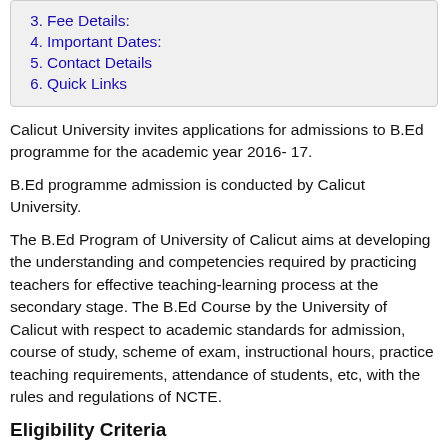3. Fee Details:
4. Important Dates:
5. Contact Details
6. Quick Links
Calicut University invites applications for admissions to B.Ed programme for the academic year 2016- 17.
B.Ed programme admission is conducted by Calicut University.
The B.Ed Program of University of Calicut aims at developing the understanding and competencies required by practicing teachers for effective teaching-learning process at the secondary stage. The B.Ed Course by the University of Calicut with respect to academic standards for admission, course of study, scheme of exam, instructional hours, practice teaching requirements, attendance of students, etc, with the rules and regulations of NCTE.
Eligibility Criteria